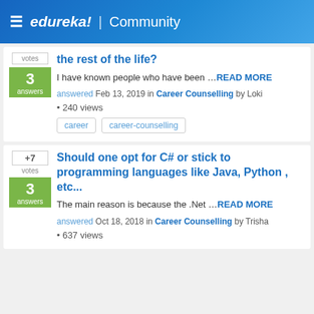≡ edureka! | Community
the rest of the life?
I have known people who have been ...READ MORE
answered Feb 13, 2019 in Career Counselling by Loki
• 240 views
career   career-counselling
Should one opt for C# or stick to programming languages like Java, Python , etc...
The main reason is because the .Net ...READ MORE
answered Oct 18, 2018 in Career Counselling by Trisha
• 637 views